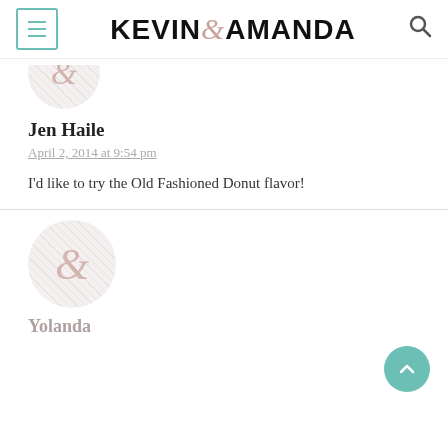KEVIN & AMANDA
[Figure (illustration): Circular avatar with ampersand symbol, hatched background, partially visible at top]
Jen Haile
April 2, 2014 at 9:54 pm
I'd like to try the Old Fashioned Donut flavor!
[Figure (illustration): Circular avatar with ampersand symbol on hatched light pink/grey background]
Yolanda